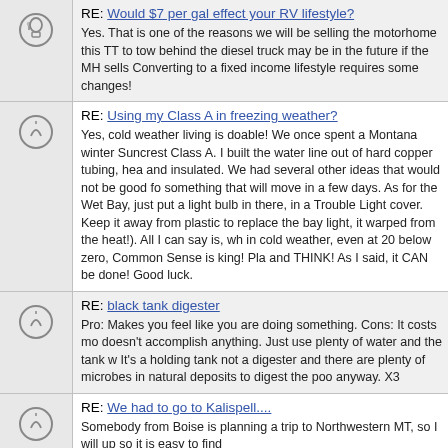RE: Would $7 per gal effect your RV lifestyle?
Yes. That is one of the reasons we will be selling the motorhome this TT to tow behind the diesel truck may be in the future if the MH sells Converting to a fixed income lifestyle requires some changes!
RE: Using my Class A in freezing weather?
Yes, cold weather living is doable! We once spent a Montana winter Suncrest Class A. I built the water line out of hard copper tubing, hea and insulated. We had several other ideas that would not be good fo something that will move in a few days. As for the Wet Bay, just put a light bulb in there, in a Trouble Light cover. Keep it away from plastic to replace the bay light, it warped from the heat!). All I can say is, wh in cold weather, even at 20 below zero, Common Sense is king! Pla and THINK! As I said, it CAN be done! Good luck.
RE: black tank digester
Pro: Makes you feel like you are doing something. Cons: It costs mo doesn't accomplish anything. Just use plenty of water and the tank w It's a holding tank not a digester and there are plenty of microbes in natural deposits to digest the poo anyway. X3
RE: We had to go to Kalispell....
Somebody from Boise is planning a trip to Northwestern MT, so I will up so it is easy to find
RE: Idaho & Montana Trip
Find the RV parks you want to stay at, and make your reservations N to make a trip to Kalispell in August to attend a funeral. The only spo